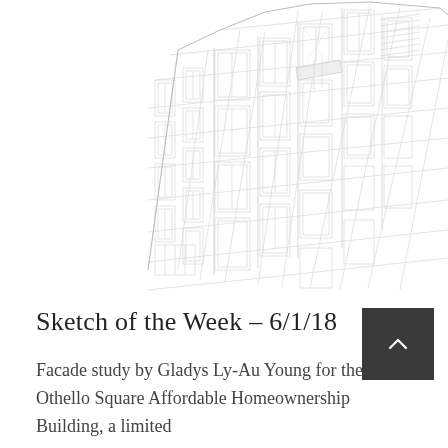[Figure (illustration): Architectural facade sketch in light gray line drawing style, showing an isometric/perspective view of a multi-story building facade with windows, panels, balconies, and structural details. The sketch uses very light gray lines on a white background, giving it a delicate, technical illustration quality.]
Sketch of the Week – 6/1/18
Facade study by Gladys Ly-Au Young for the Othello Square Affordable Homeownership Building, a limited